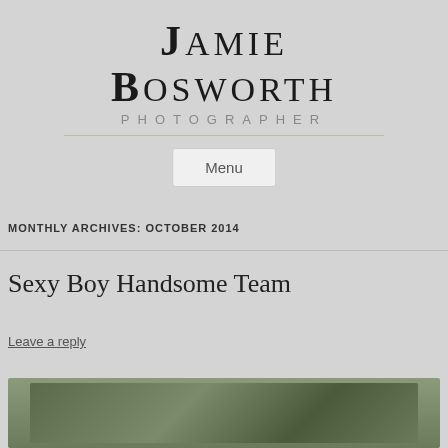Jamie Bosworth Photographer
Menu
MONTHLY ARCHIVES: OCTOBER 2014
Sexy Boy Handsome Team
Leave a reply
[Figure (photo): Partial photo visible at bottom of page, appears to be an outdoor photograph]